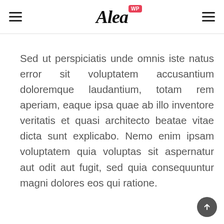Alea WP — navigation header with hamburger menus and logo
Sed ut perspiciatis unde omnis iste natus error sit voluptatem accusantium doloremque laudantium, totam rem aperiam, eaque ipsa quae ab illo inventore veritatis et quasi architecto beatae vitae dicta sunt explicabo. Nemo enim ipsam voluptatem quia voluptas sit aspernatur aut odit aut fugit, sed quia consequuntur magni dolores eos qui ratione.